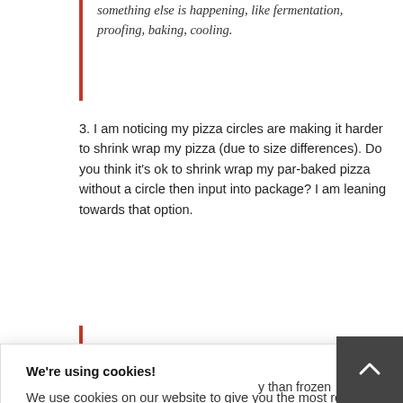something else is happening, like fermentation, proofing, baking, cooling.
3. I am noticing my pizza circles are making it harder to shrink wrap my pizza (due to size differences). Do you think it's ok to shrink wrap my par-baked pizza without a circle then input into package? I am leaning towards that option.
We're using cookies!

We use cookies on our website to give you the most relevant experience by remembering your preferences and repeat visits. By clicking "Accept", you consent to the use of ALL the cookies. To get rid of the necessary ones, click "COOKIE SETTINGS"

Cookie Settings   ACCEPT